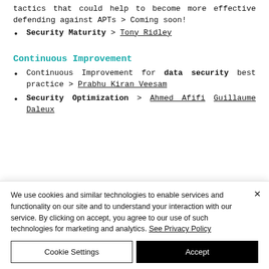tactics that could help to become more effective defending against APTs > Coming soon!
Security Maturity > Tony Ridley
Continuous Improvement
Continuous Improvement for data security best practice > Prabhu Kiran Veesam
Security Optimization > Ahmed Afifi Guillaume Daleux
We use cookies and similar technologies to enable services and functionality on our site and to understand your interaction with our service. By clicking on accept, you agree to our use of such technologies for marketing and analytics. See Privacy Policy
Cookie Settings | Accept